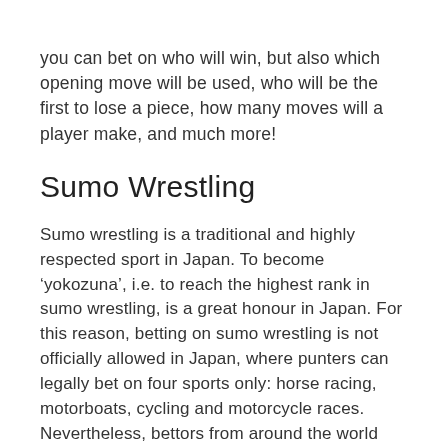you can bet on who will win, but also which opening move will be used, who will be the first to lose a piece, how many moves will a player make, and much more!
Sumo Wrestling
Sumo wrestling is a traditional and highly respected sport in Japan. To become ‘yokozuna’, i.e. to reach the highest rank in sumo wrestling, is a great honour in Japan. For this reason, betting on sumo wrestling is not officially allowed in Japan, where punters can legally bet on four sports only: horse racing, motorboats, cycling and motorcycle races. Nevertheless, bettors from around the world can place their bets on sumo wrestling online and in Japan, and several scandals over illegal sumo betting were reported in recent years.